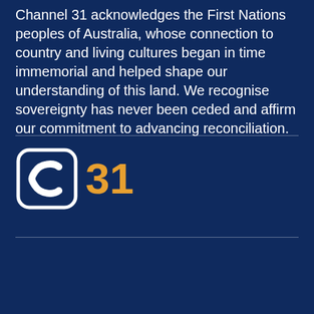Channel 31 acknowledges the First Nations peoples of Australia, whose connection to country and living cultures began in time immemorial and helped shape our understanding of this land. We recognise sovereignty has never been ceded and affirm our commitment to advancing reconciliation.
[Figure (logo): C31 Channel 31 logo — a white rounded square icon containing a stylized C shape, followed by the number 31 in orange/gold color]